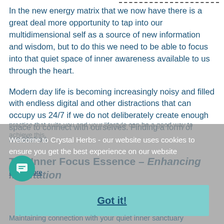In the new energy matrix that we now have there is a great deal more opportunity to tap into our multidimensional self as a source of new information and wisdom, but to do this we need to be able to focus into that quiet space of inner awareness available to us through the heart.
Modern day life is becoming increasingly noisy and filled with endless digital and other distractions that can occupy us 24/7 if we do not deliberately create enough space to connect with ourselves. Finding a form of meditation practice that suits you and your lifestyle can be a good way to achieve this.
The Inner Focus Essence – Enhancing Meditation
Maintaining connection with your quiet inner sanctuary
Welcome to Crystal Herbs - our website uses cookies to ensure you get the best experience on our website
Learn more
Got it!